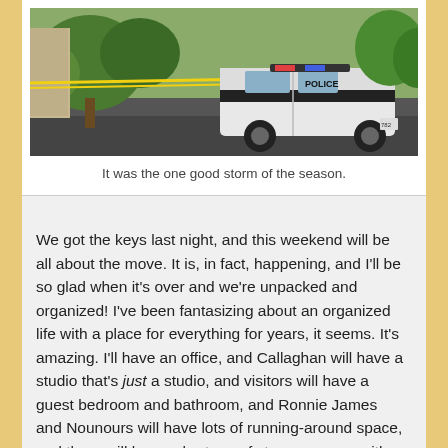[Figure (photo): A police SUV parked near yellow crime scene tape with trees in the background]
It was the one good storm of the season.
We got the keys last night, and this weekend will be all about the move. It is, in fact, happening, and I'll be so glad when it's over and we're unpacked and organized! I've been fantasizing about an organized life with a place for everything for years, it seems. It's amazing. I'll have an office, and Callaghan will have a studio that's just a studio, and visitors will have a guest bedroom and bathroom, and Ronnie James and Nounours will have lots of running-around space, and there will be no shortage of storage space, either.
So, that's the story behind this latest move into this latest dwelling, which we see as being a Very Long-Term Situation. It's sweet. It's a sweet little house, and we're grateful to have gotten it. We got lucky, is what we got.